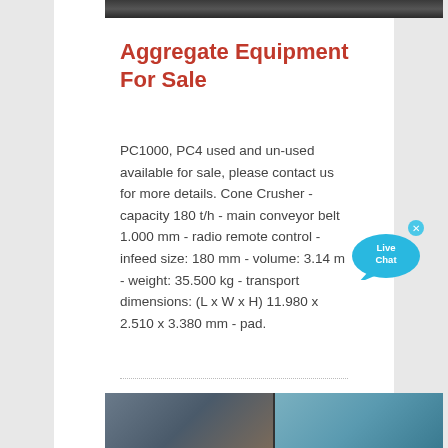[Figure (photo): Dark industrial/construction photograph at top of page]
Aggregate Equipment For Sale
PC1000, PC4 used and un-used available for sale, please contact us for more details. Cone Crusher - capacity 180 t/h - main conveyor belt 1.000 mm - radio remote control - infeed size: 180 mm - volume: 3.14 m - weight: 35.500 kg - transport dimensions: (L x W x H) 11.980 x 2.510 x 3.380 mm - pad.
[Figure (illustration): Live Chat button/bubble graphic — blue speech bubble with 'Live Chat' text]
[Figure (photo): Industrial/construction photograph at bottom of page showing scaffolding and building structure]